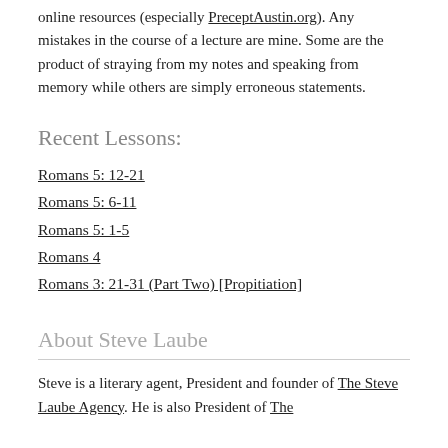online resources (especially PreceptAustin.org). Any mistakes in the course of a lecture are mine. Some are the product of straying from my notes and speaking from memory while others are simply erroneous statements.
Recent Lessons:
Romans 5: 12-21
Romans 5: 6-11
Romans 5: 1-5
Romans 4
Romans 3: 21-31 (Part Two) [Propitiation]
About Steve Laube
Steve is a literary agent, President and founder of The Steve Laube Agency. He is also President of The